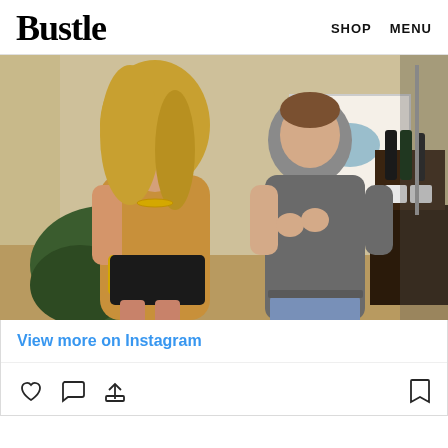Bustle   SHOP   MENU
[Figure (photo): Two people talking indoors. A blonde woman in a tan off-shoulder top holding a gold clutch, and a young man in a grey t-shirt and jeans, standing in what appears to be a boutique or apartment with bottles, mugs, and clothing racks in the background.]
View more on Instagram
[Figure (infographic): Instagram action icons: heart (like), speech bubble (comment), share arrow, and bookmark icon on the right]